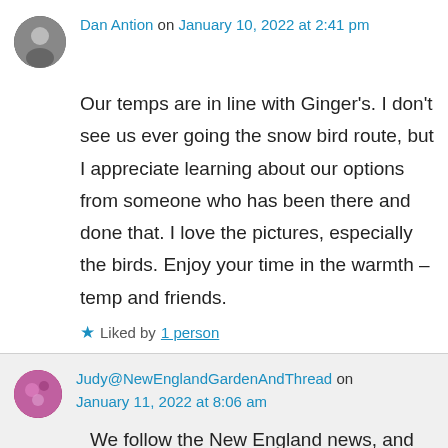Dan Antion on January 10, 2022 at 2:41 pm
Our temps are in line with Ginger's. I don't see us ever going the snow bird route, but I appreciate learning about our options from someone who has been there and done that. I love the pictures, especially the birds. Enjoy your time in the warmth – temp and friends.
Liked by 1 person
Judy@NewEnglandGardenAndThread on January 11, 2022 at 8:06 am
We follow the New England news, and it sure is record cold up there right now. I sincerely hope it warms up. It's cooler than